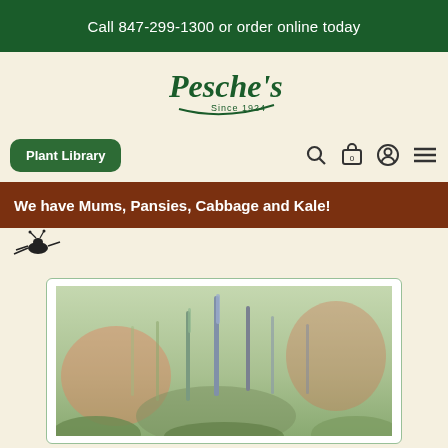Call 847-299-1300 or order online today
[Figure (logo): Pesche's Since 1924 cursive logo in dark green]
Plant Library
We have Mums, Pansies, Cabbage and Kale!
[Figure (photo): Close-up photo of tall spiked flowering plants, likely Veronicastrum or similar, with blurred background in shades of green, lavender, and coral]